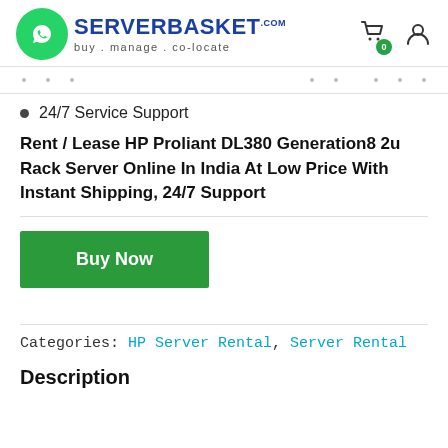[Figure (logo): ServerBasket logo with WhatsApp icon circle and tagline 'buy . manage . co-locate']
24/7 Service Support
Rent / Lease HP Proliant DL380 Generation8 2u Rack Server Online In India At Low Price With Instant Shipping, 24/7 Support
[Figure (other): Green 'Buy Now' button]
Categories: HP Server Rental, Server Rental
Description